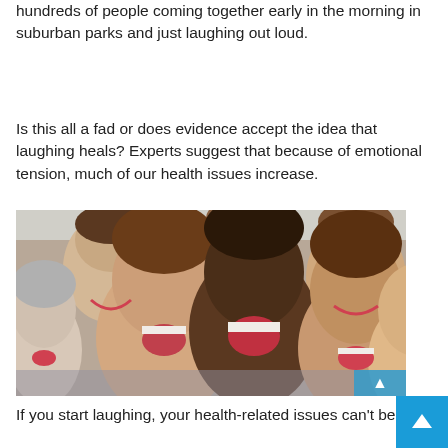hundreds of people coming together early in the morning in suburban parks and just laughing out loud.
Is this all a fad or does evidence accept the idea that laughing heals? Experts suggest that because of emotional tension, much of our health issues increase.
[Figure (photo): Group of diverse people laughing together, close-up photo showing approximately 7 smiling and laughing faces of different ethnicities and ages.]
If you start laughing, your health-related issues can't be